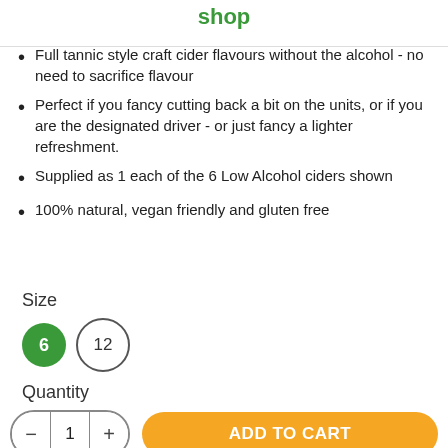shop
Full tannic style craft cider flavours without the alcohol - no need to sacrifice flavour
Perfect if you fancy cutting back a bit on the units, or if you are the designated driver - or just fancy a lighter refreshment.
Supplied as 1 each of the 6 Low Alcohol ciders shown
100% natural, vegan friendly and gluten free
Size
[Figure (other): Size selector with two circular buttons: a filled green circle labeled 6 (selected) and an outlined circle labeled 12]
Quantity
[Figure (other): Quantity stepper control showing minus button, value 1, plus button; and an orange ADD TO CART button]